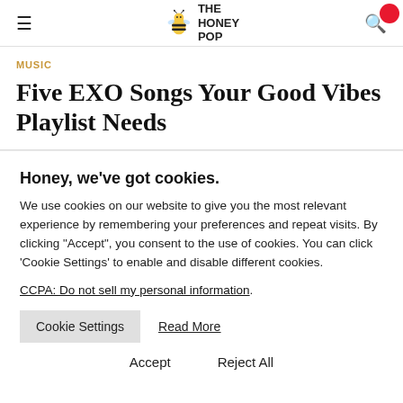THE HONEY POP
MUSIC
Five EXO Songs Your Good Vibes Playlist Needs
Honey, we’ve got cookies.
We use cookies on our website to give you the most relevant experience by remembering your preferences and repeat visits. By clicking “Accept”, you consent to the use of cookies. You can click ‘Cookie Settings’ to enable and disable different cookies.
CCPA: Do not sell my personal information.
Cookie Settings   Read More
Accept   Reject All